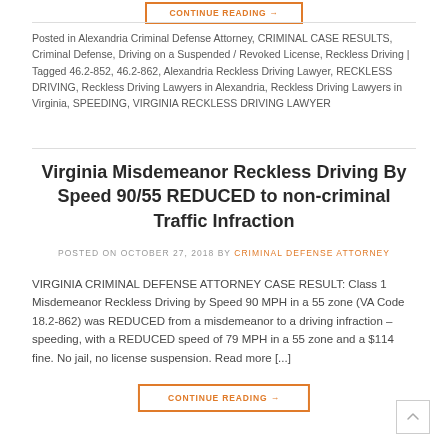[Figure (other): Orange-bordered 'CONTINUE READING →' button at top of page (partially visible)]
Posted in Alexandria Criminal Defense Attorney, CRIMINAL CASE RESULTS, Criminal Defense, Driving on a Suspended / Revoked License, Reckless Driving | Tagged 46.2-852, 46.2-862, Alexandria Reckless Driving Lawyer, RECKLESS DRIVING, Reckless Driving Lawyers in Alexandria, Reckless Driving Lawyers in Virginia, SPEEDING, VIRGINIA RECKLESS DRIVING LAWYER
Virginia Misdemeanor Reckless Driving By Speed 90/55 REDUCED to non-criminal Traffic Infraction
POSTED ON OCTOBER 27, 2018 BY CRIMINAL DEFENSE ATTORNEY
VIRGINIA CRIMINAL DEFENSE ATTORNEY CASE RESULT: Class 1 Misdemeanor Reckless Driving by Speed 90 MPH in a 55 zone (VA Code 18.2-862) was REDUCED from a misdemeanor to a driving infraction – speeding, with a REDUCED speed of 79 MPH in a 55 zone and a $114 fine. No jail, no license suspension. Read more [...]
CONTINUE READING →